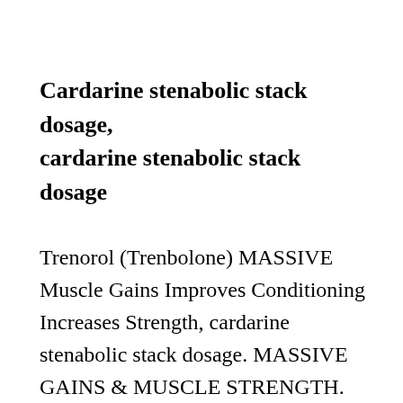Cardarine stenabolic stack dosage, cardarine stenabolic stack dosage
Trenorol (Trenbolone) MASSIVE Muscle Gains Improves Conditioning Increases Strength, cardarine stenabolic stack dosage. MASSIVE GAINS & MUSCLE STRENGTH. Use For: Fast muscle gains,